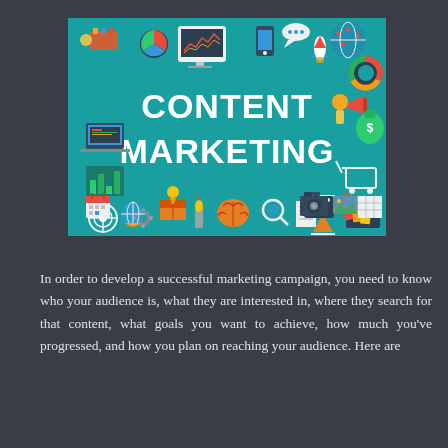[Figure (illustration): Content Marketing infographic banner on teal background with various marketing icons (devices, analytics, money, creativity, tools) surrounding the bold white text 'CONTENT MARKETING' in the center]
In order to develop a successful marketing campaign, you need to know who your audience is, what they are interested in, where they search for that content, what goals you want to achieve, how much you've progressed, and how you plan on reaching your audience. Here are